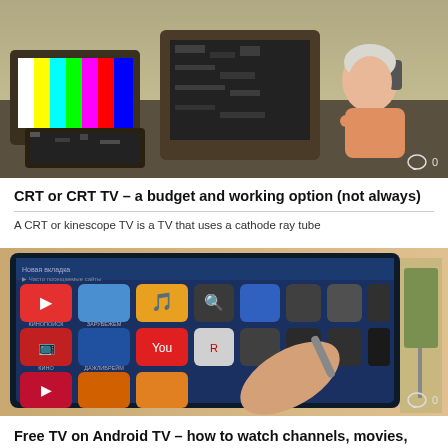[Figure (photo): Photo of old CRT televisions stacked, with an elderly person adjusting one on the right side. Comment bubble showing 0 comments in bottom right corner.]
CRT or CRT TV – a budget and working option (not always)
A CRT or kinescope TV is a TV that uses a cathode ray tube
[Figure (photo): Photo of a hand pointing a stylus at a smart TV screen showing an Android TV home screen with app icons in Russian. Comment bubble showing 0 comments in bottom right corner.]
Free TV on Android TV – how to watch channels, movies, videos
Free TV on android – is it possible, what are the applications in Russian.